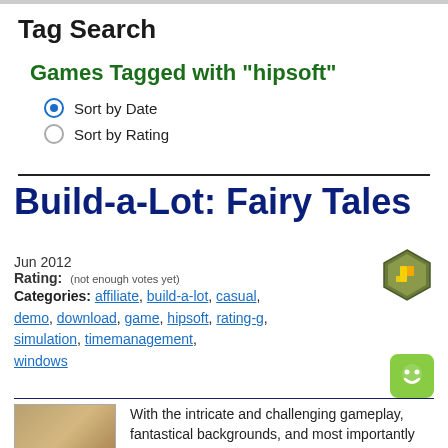Tag Search
Games Tagged with "hipsoft"
Sort by Date
Sort by Rating
Build-a-Lot: Fairy Tales
Jun 2012
Rating: (not enough votes yet)
Categories: affiliate, build-a-lot, casual, demo, download, game, hipsoft, rating-g, simulation, timemanagement, windows
With the intricate and challenging gameplay, fantastical backgrounds, and most importantly an actual story Build-a-Lot: Fairy Tales may be the best of the build-a-lot bunch, rather than a stale re-skinning of